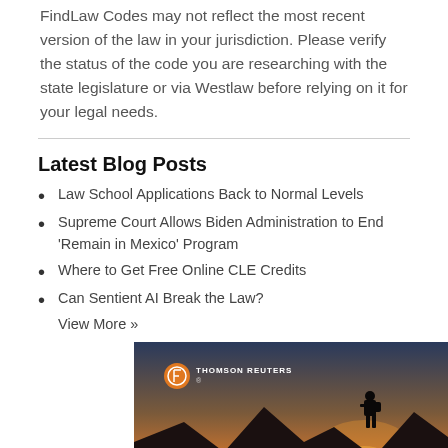FindLaw Codes may not reflect the most recent version of the law in your jurisdiction. Please verify the status of the code you are researching with the state legislature or via Westlaw before relying on it for your legal needs.
Latest Blog Posts
Law School Applications Back to Normal Levels
Supreme Court Allows Biden Administration to End 'Remain in Mexico' Program
Where to Get Free Online CLE Credits
Can Sentient AI Break the Law?
View More »
[Figure (photo): Thomson Reuters advertisement image showing a person standing on a mountain peak at sunset with the Thomson Reuters logo and name in the upper left.]